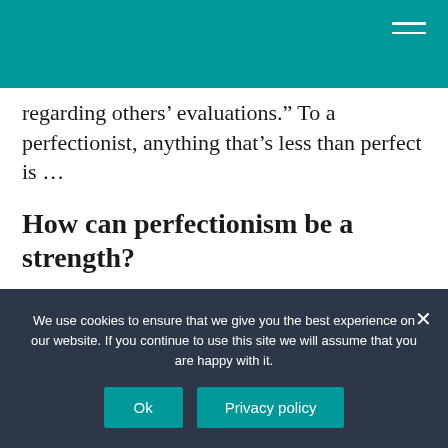regarding others’ evaluations.” To a perfectionist, anything that’s less than perfect is …
How can perfectionism be a strength?
Here are some ways you can inject self-compassion into your day to combat any negative perfectionist tendencies.
We use cookies to ensure that we give you the best experience on our website. If you continue to use this site we will assume that you are happy with it.